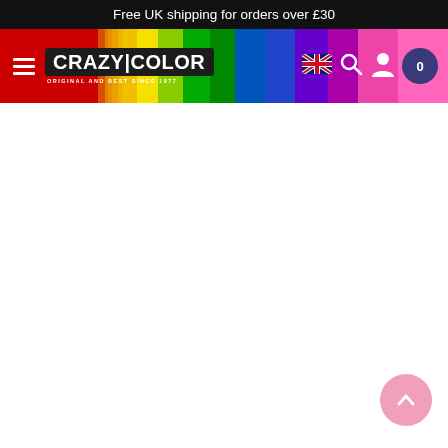Free UK shipping for orders over £30
[Figure (screenshot): Crazy Color website navigation header with rainbow paint brush stroke background, hamburger menu, Crazy Color logo (Original and Best Since 1977), UK flag icon, search icon, user icon, and cart icon showing 0 items]
[Figure (other): Scroll to top button - pink circle with upward chevron arrow in bottom right corner]